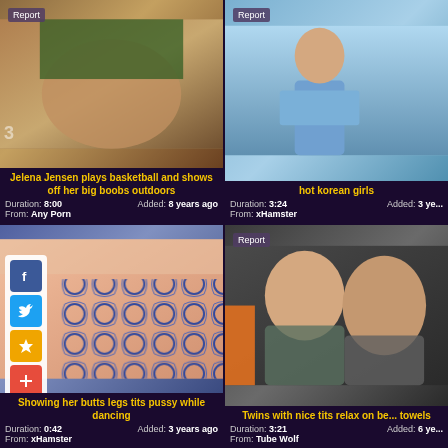[Figure (photo): Video thumbnail showing person outdoors]
Jelena Jensen plays basketball and shows off her big boobs outdoors
Duration: 8:00   Added: 8 years ago   From: Any Porn
[Figure (photo): Video thumbnail showing person in blue shorts]
hot korean girls
Duration: 3:24   Added: 3 years ago   From: xHamster
[Figure (photo): Video thumbnail with social share buttons overlay]
Showing her butts legs tits pussy while dancing
Duration: 0:42   Added: 3 years ago   From: xHamster
[Figure (photo): Video thumbnail showing two women]
Twins with nice tits relax on beach towels
Duration: 3:21   Added: 6 years ago   From: Tube Wolf